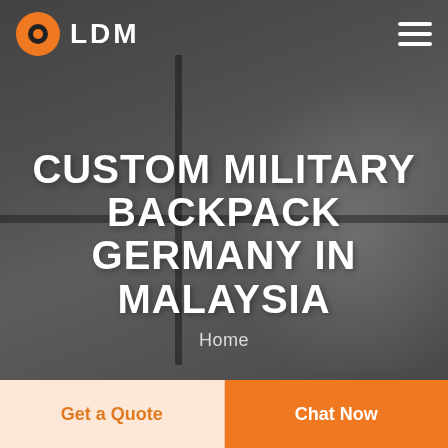[Figure (screenshot): Hero banner with greyscale-tinted photo of a smiling person near a window, with dark overlay. Shows LDM logo with orange icon top left, hamburger menu top right.]
CUSTOM MILITARY BACKPACK GERMANY IN MALAYSIA
Home
Get a Quote
Chat Now